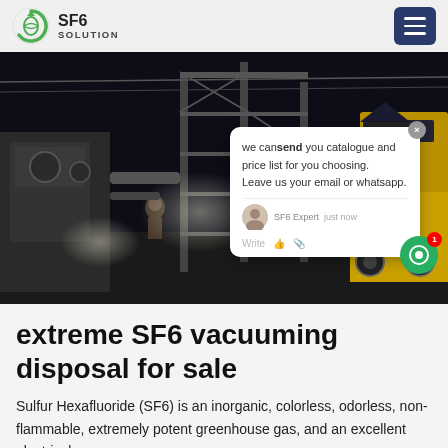SF6 SOLUTION
[Figure (photo): Nighttime industrial site with scaffolding, heavy equipment, workers, and a yellow truck. A chat popup overlay is visible on the right side saying 'we can send you catalogue and price list for you choosing. Leave us your email or whatsapp.' with SF6 Expert just now shown at the bottom.]
extreme SF6 vacuuming disposal for sale
Sulfur Hexafluoride (SF6) is an inorganic, colorless, odorless, non-flammable, extremely potent greenhouse gas, and an excellent electrical